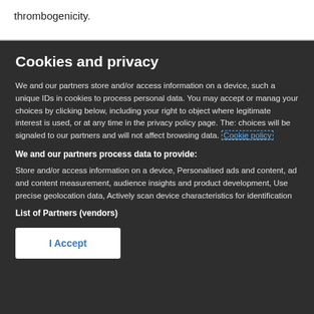thrombogenicity.
Cookies and privacy
We and our partners store and/or access information on a device, such a unique IDs in cookies to process personal data. You may accept or manage your choices by clicking below, including your right to object where legitimate interest is used, or at any time in the privacy policy page. These choices will be signaled to our partners and will not affect browsing data. Cookie policy
We and our partners process data to provide:
Store and/or access information on a device, Personalised ads and content, ad and content measurement, audience insights and product development, Use precise geolocation data, Actively scan device characteristics for identification
List of Partners (vendors)
I Accept